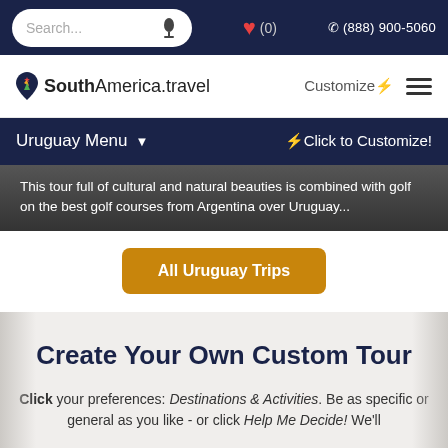Search... (0) ☎ (888) 900-5060
[Figure (logo): SouthAmerica.travel logo with colorful pin icon]
Customize⚡ ☰
Uruguay Menu ▾   ⚡Click to Customize!
This tour full of cultural and natural beauties is combined with golf on the best golf courses from Argentina over Uruguay...
All Uruguay Trips
Create Your Own Custom Tour
Click your preferences: Destinations & Activities. Be as specific or general as you like - or click Help Me Decide! We'll